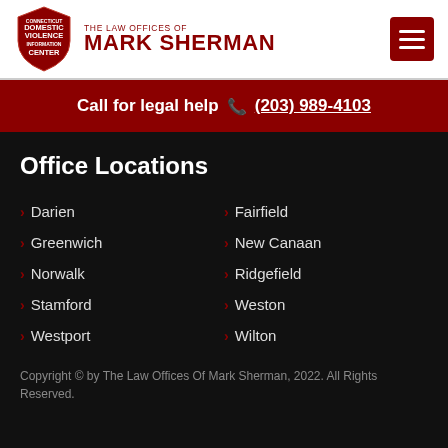[Figure (logo): Connecticut Domestic Violence Information Center shield logo with The Law Offices of Mark Sherman text]
Call for legal help (203) 989-4103
Office Locations
Darien
Fairfield
Greenwich
New Canaan
Norwalk
Ridgefield
Stamford
Weston
Westport
Wilton
Copyright © by The Law Offices Of Mark Sherman, 2022. All Rights Reserved.